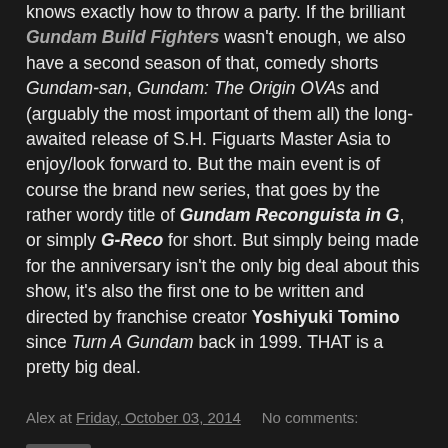knows exactly how to throw a party. If the brilliant Gundam Build Fighters wasn't enough, we also have a second season of that, comedy shorts Gundam-san, Gundam: The Origin OVAs and (arguably the most important of them all) the long-awaited release of S.H. Figuarts Master Asia to enjoy/look forward to. But the main event is of course the brand new series, that goes by the rather wordy title of Gundam Reconguista in G, or simply G-Reco for short. But simply being made for the anniversary isn't the only big deal about this show, it's also the first one to be written and directed by franchise creator Yoshiyuki Tomino since Turn A Gundam back in 1999. THAT is a pretty big deal.
Alex at Friday, October 03, 2014 No comments:
Share
Thursday, 2 October 2014
Toybox REVIEW: Ressha Sentai ToQger Minipla Safari GaOh